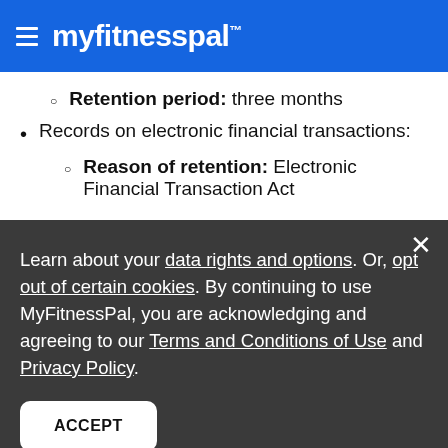myfitnesspal
Retention period: three months
Records on electronic financial transactions:
Reason of retention: Electronic Financial Transaction Act
Learn about your data rights and options. Or, opt out of certain cookies. By continuing to use MyFitnessPal, you are acknowledging and agreeing to our Terms and Conditions of Use and Privacy Policy.
ACCEPT